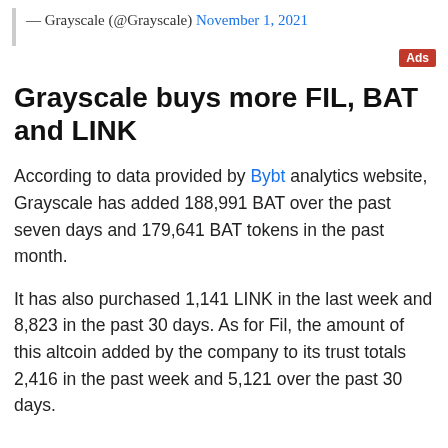— Grayscale (@Grayscale) November 1, 2021
Grayscale buys more FIL, BAT and LINK
According to data provided by Bybt analytics website, Grayscale has added 188,991 BAT over the past seven days and 179,641 BAT tokens in the past month.
It has also purchased 1,141 LINK in the last week and 8,823 in the past 30 days. As for Fil, the amount of this altcoin added by the company to its trust totals 2,416 in the past week and 5,121 over the past 30 days.